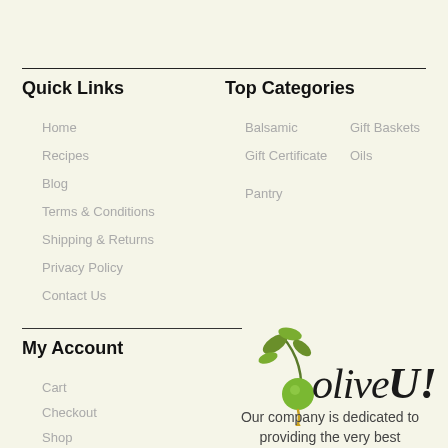Quick Links
Home
Recipes
Blog
Terms & Conditions
Shipping & Returns
Privacy Policy
Contact Us
Top Categories
Balsamic
Gift Baskets
Gift Certificate
Oils
Pantry
My Account
Cart
Checkout
Shop
[Figure (logo): Olive U! logo with olive branch and olive graphic in script font]
Our company is dedicated to providing the very best